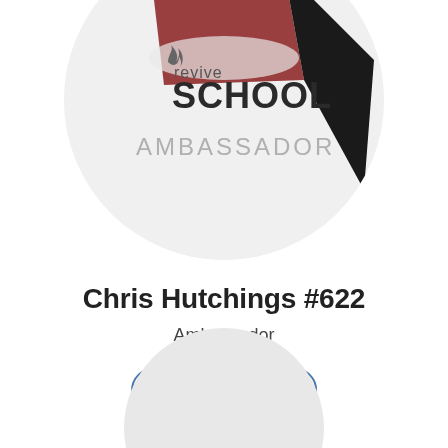[Figure (logo): Revive School Ambassador circular profile badge with house/roof illustration and text 'revive SCHOOL AMBASSADOR']
Chris Hutchings #622
Ambassador
View Member